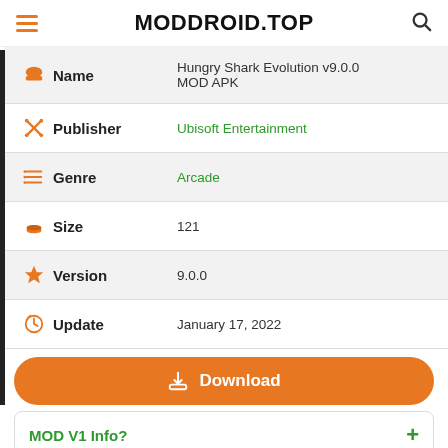MODDROID.TOP
| Field | Value |
| --- | --- |
| Name | Hungry Shark Evolution v9.0.0 MOD APK |
| Publisher | Ubisoft Entertainment |
| Genre | Arcade |
| Size | 121 |
| Version | 9.0.0 |
| Update | January 17, 2022 |
Download
MOD V1 Info?